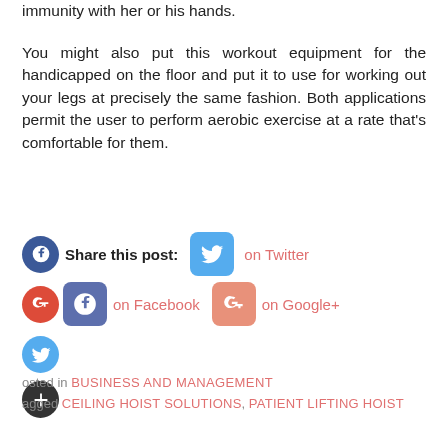immunity with her or his hands.

You might also put this workout equipment for the handicapped on the floor and put it to use for working out your legs at precisely the same fashion. Both applications permit the user to perform aerobic exercise at a rate that's comfortable for them.
Share this post:  on Twitter  on Facebook  on Google+
Posted in BUSINESS AND MANAGEMENT
Tagged CEILING HOIST SOLUTIONS, PATIENT LIFTING HOIST